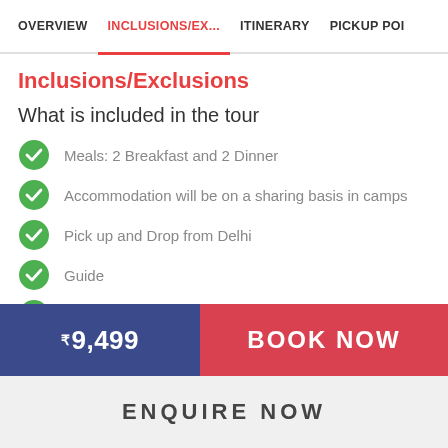OVERVIEW | INCLUSIONS/EX... | ITINERARY | PICKUP POI...
Inclusions/Exclusions
What is included in the tour
Meals: 2 Breakfast and 2 Dinner
Accommodation will be on a sharing basis in camps
Pick up and Drop from Delhi
Guide
Hike To Chalaal
Gala Dinner
Bonfire with evening snacks
₹9,499
BOOK NOW
ENQUIRE NOW